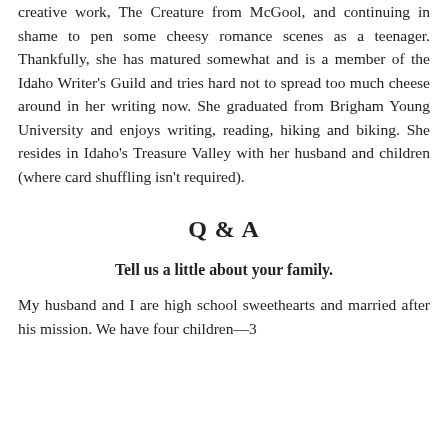creative work, The Creature from McGool, and continuing in shame to pen some cheesy romance scenes as a teenager. Thankfully, she has matured somewhat and is a member of the Idaho Writer's Guild and tries hard not to spread too much cheese around in her writing now. She graduated from Brigham Young University and enjoys writing, reading, hiking and biking. She resides in Idaho's Treasure Valley with her husband and children (where card shuffling isn't required).
Q & A
Tell us a little about your family.
My husband and I are high school sweethearts and married after his mission. We have four children—3